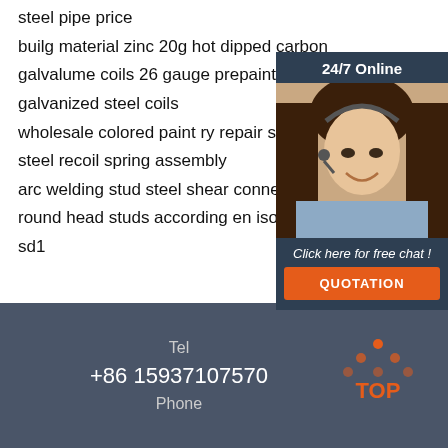steel pipe price
builg material zinc 20g hot dipped carbon
galvalume coils 26 gauge prepainted
galvanized steel coils
wholesale colored paint ry repair sh
steel recoil spring assembly
arc welding stud steel shear connec
round head studs according en iso 1
sd1
[Figure (photo): Customer service representative woman with headset smiling, with 24/7 Online badge and Click here for free chat text and QUOTATION button]
Tel +86 15937107570 Phone